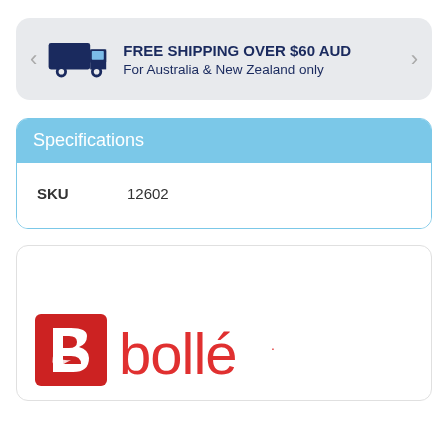FREE SHIPPING OVER $60 AUD
For Australia & New Zealand only
| SKU | Value |
| --- | --- |
| SKU | 12602 |
[Figure (logo): Bollé brand logo with red square icon containing white 'b' shape and red 'bollé' text]